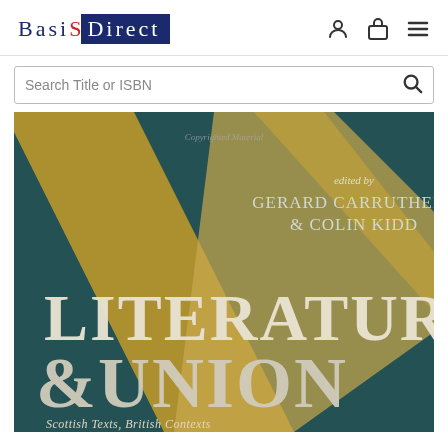Basis Direct
Search Title or ISBN
[Figure (photo): Book cover of 'Literature & Union: Scottish Texts, British Contexts' edited by Gerard Carruthers & Colin Kidd, showing a dark teal background with large gold diagonal design elements and white serif title text at the bottom.]